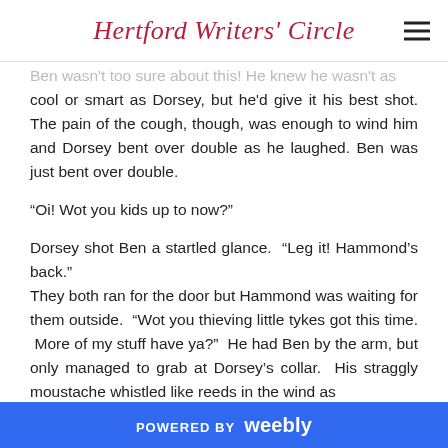Hertford Writers' Circle
Ben wasn't too sure about this!  He knew he wasn't as cool or smart as Dorsey, but he'd give it his best shot.  The pain of the cough, though, was enough to wind him and Dorsey bent over double as he laughed.  Ben was just bent over double.
“Oi!  Wot you kids up to now?”
Dorsey shot Ben a startled glance.  “Leg it!  Hammond’s back.”
They both ran for the door but Hammond was waiting for them outside.  “Wot you thieving little tykes got this time.  More of my stuff have ya?”  He had Ben by the arm, but only managed to grab at Dorsey’s collar.  His straggly moustache whistled like reeds in the wind as
POWERED BY weebly